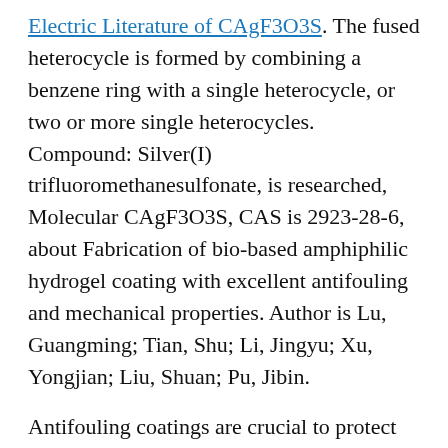Electric Literature of CAgF3O3S. The fused heterocycle is formed by combining a benzene ring with a single heterocycle, or two or more single heterocycles. Compound: Silver(I) trifluoromethanesulfonate, is researched, Molecular CAgF3O3S, CAS is 2923-28-6, about Fabrication of bio-based amphiphilic hydrogel coating with excellent antifouling and mechanical properties. Author is Lu, Guangming; Tian, Shu; Li, Jingyu; Xu, Yongjian; Liu, Shuan; Pu, Jibin.
Antifouling coatings are crucial to protect marine facilities and aquacultures from the damage of microorganisms for long-term serves. However, it is still a challenge to